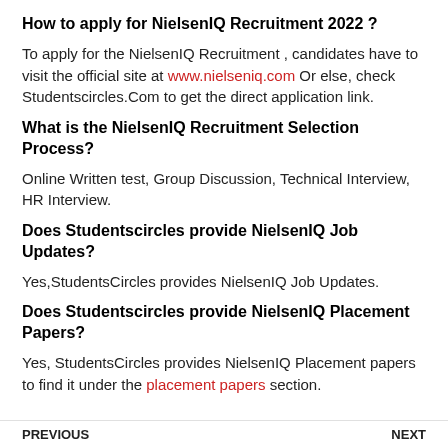How to apply for NielsenIQ Recruitment 2022 ?
To apply for the NielsenIQ Recruitment , candidates have to visit the official site at www.nielseniq.com Or else, check Studentscircles.Com to get the direct application link.
What is the NielsenIQ Recruitment Selection Process?
Online Written test, Group Discussion, Technical Interview, HR Interview.
Does Studentscircles provide NielsenIQ Job Updates?
Yes,StudentsCircles provides NielsenIQ Job Updates.
Does Studentscircles provide NielsenIQ Placement Papers?
Yes, StudentsCircles provides NielsenIQ Placement papers to find it under the placement papers section.
PREVIOUS  NEXT